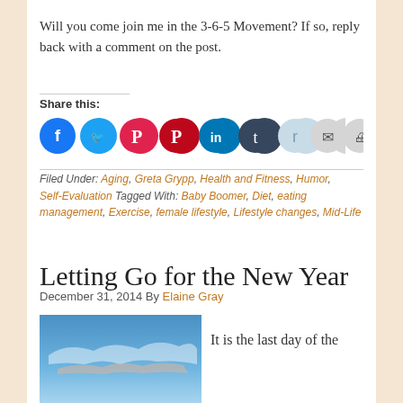Will you come join me in the 3-6-5 Movement?  If so, reply back with a comment on the post.
Share this:
[Figure (infographic): Row of social sharing icon buttons: Facebook (blue), Twitter (light blue), Pocket (red), Pinterest (dark red), LinkedIn (blue), Tumblr (dark navy), Reddit (light blue), Email (grey), Print (grey)]
Filed Under: Aging, Greta Grypp, Health and Fitness, Humor, Self-Evaluation Tagged With: Baby Boomer, Diet, eating management, Exercise, female lifestyle, Lifestyle changes, Mid-Life
Letting Go for the New Year
December 31, 2014 By Elaine Gray
[Figure (photo): Sky photo with blue sky and wispy pink/white clouds]
It is the last day of the